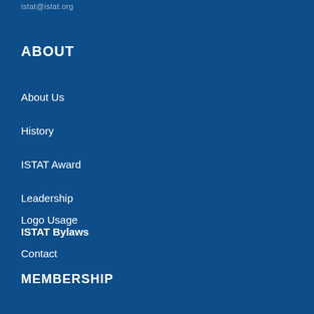istat@istat.org
ABOUT
About Us
History
ISTAT Award
Leadership
ISTAT Bylaws
Logo Usage
Contact
Press Policy
MEMBERSHIP